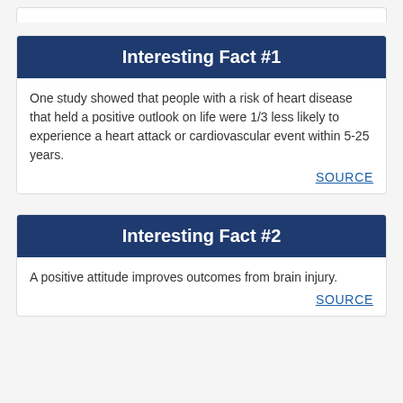Interesting Fact #1
One study showed that people with a risk of heart disease that held a positive outlook on life were 1/3 less likely to experience a heart attack or cardiovascular event within 5-25 years.
SOURCE
Interesting Fact #2
A positive attitude improves outcomes from brain injury.
SOURCE